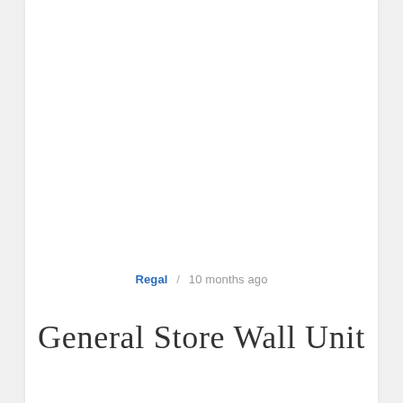Regal / 10 months ago
General Store Wall Unit